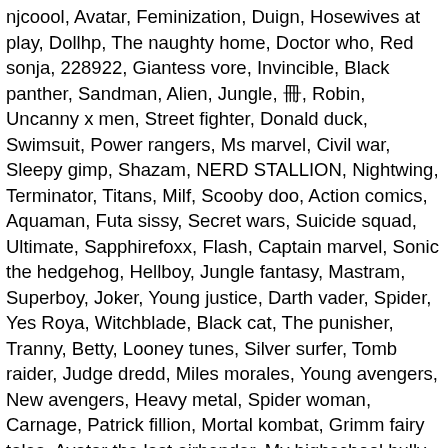njcoool, Avatar, Feminization, Duign, Hosewives at play, Dollhp, The naughty home, Doctor who, Red sonja, 228922, Giantess vore, Invincible, Black panther, Sandman, Alien, Jungle, 冊, Robin, Uncanny x men, Street fighter, Donald duck, Swimsuit, Power rangers, Ms marvel, Civil war, Sleepy gimp, Shazam, NERD STALLION, Nightwing, Terminator, Titans, Milf, Scooby doo, Action comics, Aquaman, Futa sissy, Secret wars, Suicide squad, Ultimate, Sapphirefoxx, Flash, Captain marvel, Sonic the hedgehog, Hellboy, Jungle fantasy, Mastram, Superboy, Joker, Young justice, Darth vader, Spider, Yes Roya, Witchblade, Black cat, The punisher, Tranny, Betty, Looney tunes, Silver surfer, Tomb raider, Judge dredd, Miles morales, Young avengers, New avengers, Heavy metal, Spider woman, Carnage, Patrick fillion, Mortal kombat, Grimm fairy tales, Avatar the last airbender, My highschool bully, Guardians of the galaxy, Hawkeye, Humanity lost, Weight gain, Anal, Masters of the universe, Aliens, Mickey mouse, Gay, Red hood, Green arrow, Jla, Vampire, The simpsons, Thanos, The walking dead, Spider verse, Amazing spiderman, House of m, Watchmen, The kept man strikes back, Phantom, Penthouse, Dceased, Girls, Zombie, Kamen america, Power girl, Spectacular spider man, Ghostbusters, Horror, Adventure time, Betty and veronica, Justice league of america, Dc super hero girls, Xxx connect app, Jmark1966 – The Shrinking Boyfriend, Defenders, Spider gwen, Buffy, Serge3dx, Birds of prey, Doom patrol, Warhammer, Robocop, Spider man 2099, Love, X force,